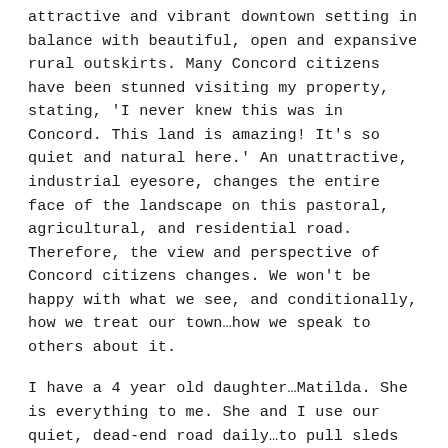attractive and vibrant downtown setting in balance with beautiful, open and expansive rural outskirts. Many Concord citizens have been stunned visiting my property, stating, 'I never knew this was in Concord. This land is amazing! It's so quiet and natural here.' An unattractive, industrial eyesore, changes the entire face of the landscape on this pastoral, agricultural, and residential road. Therefore, the view and perspective of Concord citizens changes. We won't be happy with what we see, and conditionally, how we treat our town…how we speak to others about it.
I have a 4 year old daughter…Matilda. She is everything to me. She and I use our quiet, dead-end road daily…to pull sleds on, ride bikes, and walk the dog. Our natural behaviors such as these will unfortunately change with such a drastic change to our setting. More importantly, as our house sits